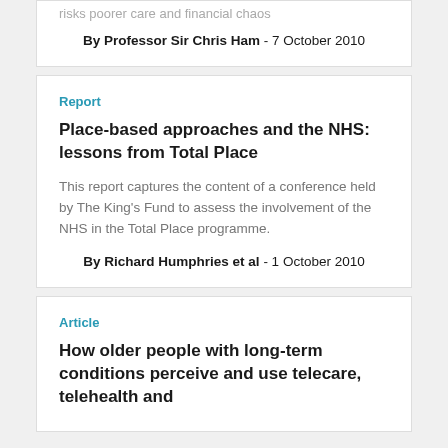risks poorer care and financial chaos
By Professor Sir Chris Ham - 7 October 2010
Report
Place-based approaches and the NHS: lessons from Total Place
This report captures the content of a conference held by The King's Fund to assess the involvement of the NHS in the Total Place programme.
By Richard Humphries et al - 1 October 2010
Article
How older people with long-term conditions perceive and use telecare, telehealth and